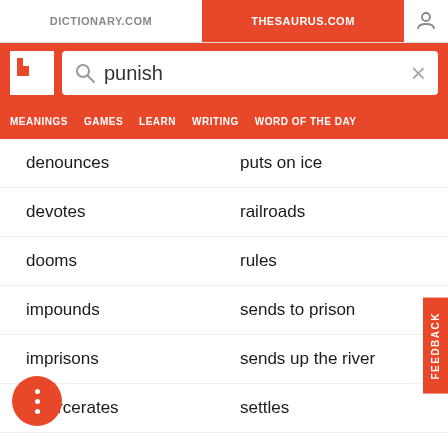DICTIONARY.COM | THESAURUS.COM
[Figure (screenshot): Thesaurus.com search bar with query 'punish']
MEANINGS   GAMES   LEARN   WRITING   WORD OF THE DAY
denounces
puts on ice
devotes
railroads
dooms
rules
impounds
sends to prison
imprisons
sends up the river
incarcerates
settles
jails
takes the fall
judges
throws the book at